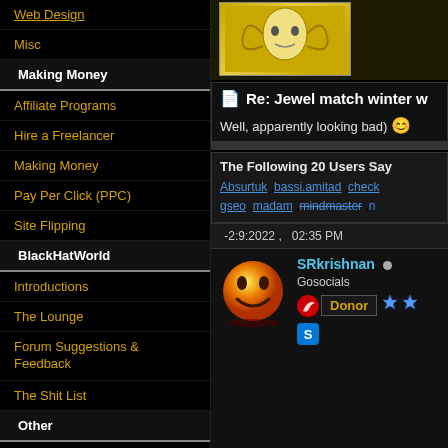Web Design
Misc
Making Money
Affiliate Programs
Hire a Freelancer
Making Money
Pay Per Click (PPC)
Site Flipping
BlackHatWorld
Introductions
The Lounge
Forum Suggestions & Feedback
The Shit List
Other
Domain Name Forum
IM Journeys
Web Hosting
[Figure (illustration): Decorative forum image with golden swirls and a figure]
Re: Jewel match winter w
Well, apparently looking bad) :)
The Following 20 Users Say
Absurtuk ,bassi.amitad ,check ,gseo ,madam ,mindmaster ,n
-2:9:2022 ,  02:35 PM
SRkrishnan
Gosocials
Donor